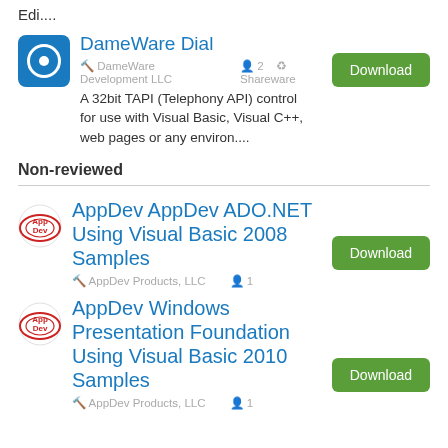Edi....
DameWare Dial
DameWare Development LLC  2  Shareware
A 32bit TAPI (Telephony API) control for use with Visual Basic, Visual C++, web pages or any environ....
Non-reviewed
AppDev AppDev ADO.NET Using Visual Basic 2008 Samples
AppDev Products, LLC  1
AppDev Windows Presentation Foundation Using Visual Basic 2010 Samples
AppDev Products, LLC  1